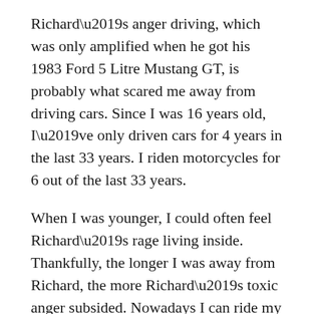Richard’s anger driving, which was only amplified when he got his 1983 Ford 5 Litre Mustang GT, is probably what scared me away from driving cars. Since I was 16 years old, I’ve only driven cars for 4 years in the last 33 years. I riden motorcycles for 6 out of the last 33 years.
When I was younger, I could often feel Richard’s rage living inside. Thankfully, the longer I was away from Richard, the more Richard’s toxic anger subsided. Nowadays I can ride my motocycle and feel none of Richard’s anger or rage.
Uncle Doug on the other hand was a “happy go lucky” kind of guy. Uncle Doug drank nowhere